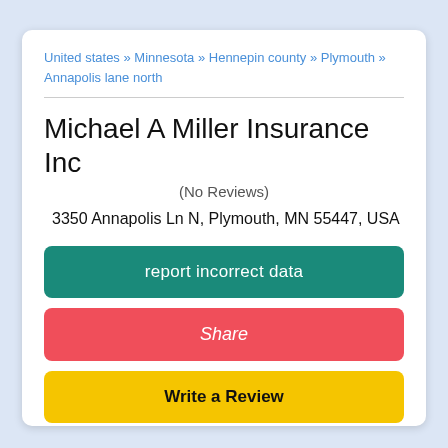United states » Minnesota » Hennepin county » Plymouth » Annapolis lane north
Michael A Miller Insurance Inc
(No Reviews)
3350 Annapolis Ln N, Plymouth, MN 55447, USA
report incorrect data
Share
Write a Review